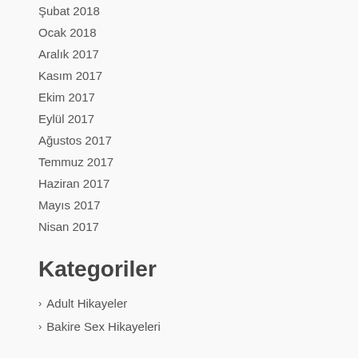Şubat 2018
Ocak 2018
Aralık 2017
Kasım 2017
Ekim 2017
Eylül 2017
Ağustos 2017
Temmuz 2017
Haziran 2017
Mayıs 2017
Nisan 2017
Kategoriler
Adult Hikayeler
Bakire Sex Hikayeleri